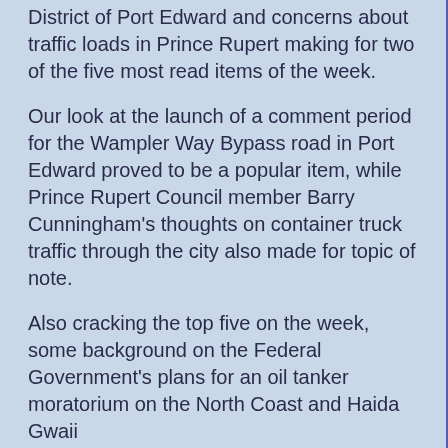District of Port Edward and concerns about traffic loads in Prince Rupert making for two of the five most read items of the week.
Our look at the launch of a comment period for the Wampler Way Bypass road in Port Edward proved to be a popular item, while Prince Rupert Council member Barry Cunningham's thoughts on container truck traffic through the city also made for topic of note.
Also cracking the top five on the week, some background on the Federal Government's plans for an oil tanker moratorium on the North Coast and Haida Gwaii
Two more civic notes rounded out the list of five for the week, with City Council's decision to join in with other Northwest communities to attract workers to the region getting some good audience numbers, as did our overview of some of the events that Mayor Lee Brain had an opportunity to take in while he was attending the three days of the Renewable Cities conference in Vancouver .
Our top story however, takes us down the highway to the